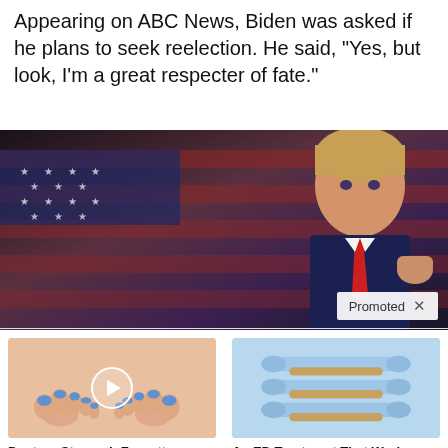Appearing on ABC News, Biden was asked if he plans to seek reelection. He said, “Yes, but look, I’m a great respecter of fate.”
[Figure (photo): Promotional image of Donald Trump in front of an American flag, with a 'Promoted' badge in the lower right corner]
[Figure (photo): Ad image showing feet with blue nail polish on toes, with a video play button overlay. Headline: Doctors Stunned: Forgotten Discovery Reveals The Real Root Cause Of Toenail Fungus. Count: 3,259]
[Figure (photo): Ad image showing light blue dumbbells/fitness accessories. Headline: An ED Treatment That Works When You Need It. Count: 114,921]